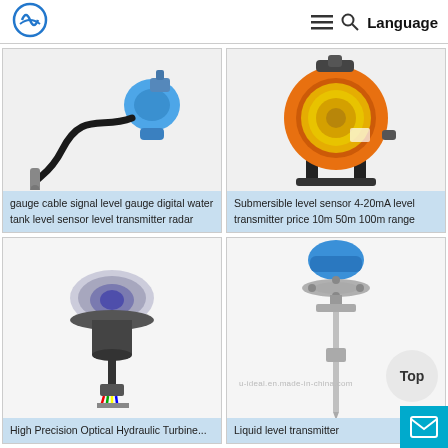Logo | Navigation | Language
[Figure (photo): Submersible pressure gauge cable signal level gauge digital water tank level sensor level transmitter radar]
gauge cable signal level gauge digital water tank level sensor level transmitter radar
[Figure (photo): Orange cable reel submersible level sensor 4-20mA level transmitter]
Submersible level sensor 4-20mA level transmitter price 10m 50m 100m range
[Figure (photo): High Precision Optical Hydraulic turbine sensor device with multi-color wires]
High Precision Optical Hydraulic Turbine...
[Figure (photo): Liquid level transmitter tall slender metallic probe with blue sensor head]
Liquid level transmitter